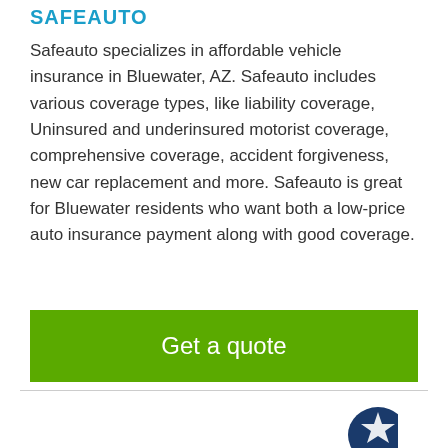SAFEAUTO
Safeauto specializes in affordable vehicle insurance in Bluewater, AZ. Safeauto includes various coverage types, like liability coverage, Uninsured and underinsured motorist coverage, comprehensive coverage, accident forgiveness, new car replacement and more. Safeauto is great for Bluewater residents who want both a low-price auto insurance payment along with good coverage.
[Figure (other): Green 'Get a quote' call-to-action button]
[Figure (logo): Dark blue circular logo with crown/star emblem at bottom right of page]